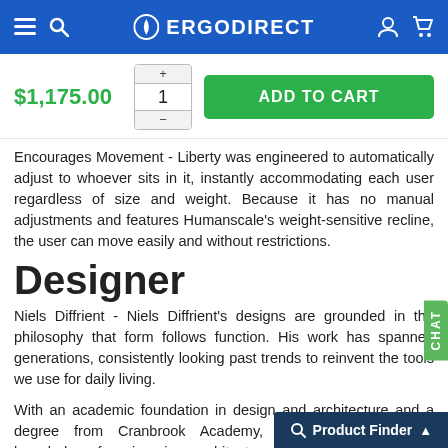ERGODIRECT
$1,175.00
ADD TO CART
Encourages Movement - Liberty was engineered to automatically adjust to whoever sits in it, instantly accommodating each user regardless of size and weight. Because it has no manual adjustments and features Humanscale's weight-sensitive recline, the user can move easily and without restrictions.
Designer
Niels Diffrient - Niels Diffrient's designs are grounded in the philosophy that form follows function. His work has spanned generations, consistently looking past trends to reinvent the tools we use for daily living.
With an academic foundation in design and architecture and a degree from Cranbrook Academy, Diffrient channels his knowledge of engineering, architecture, and human factors into the creation of highly functional a tional design.